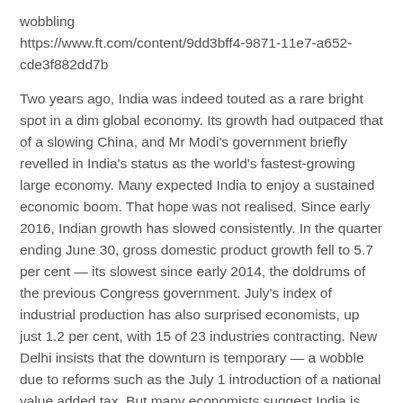wobbling
https://www.ft.com/content/9dd3bff4-9871-11e7-a652-cde3f882dd7b
Two years ago, India was indeed touted as a rare bright spot in a dim global economy. Its growth had outpaced that of a slowing China, and Mr Modi's government briefly revelled in India's status as the world's fastest-growing large economy. Many expected India to enjoy a sustained economic boom. That hope was not realised. Since early 2016, Indian growth has slowed consistently. In the quarter ending June 30, gross domestic product growth fell to 5.7 per cent — its slowest since early 2014, the doldrums of the previous Congress government. July's index of industrial production has also surprised economists, up just 1.2 per cent, with 15 of 23 industries contracting. New Delhi insists that the downturn is temporary — a wobble due to reforms such as the July 1 introduction of a national value added tax. But many economists suggest India is facing serious structural problems from which it is unlikely to recover